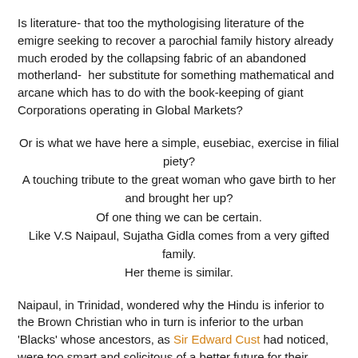Is literature- that too the mythologising literature of the emigre seeking to recover a parochial family history already much eroded by the collapsing fabric of an abandoned motherland-  her substitute for something mathematical and arcane which has to do with the book-keeping of giant Corporations operating in Global Markets?
Or is what we have here a simple, eusebiac, exercise in filial piety?
A touching tribute to the great woman who gave birth to her and brought her up?
Of one thing we can be certain.
Like V.S Naipaul, Sujatha Gidla comes from a very gifted family.
Her theme is similar.
Naipaul, in Trinidad, wondered why the Hindu is inferior to the Brown Christian who in turn is inferior to the urban 'Blacks' whose ancestors, as Sir Edward Cust had noticed, were too smart and solicitous of a better future for their children, to remain as simple cane cutters in the countryside.